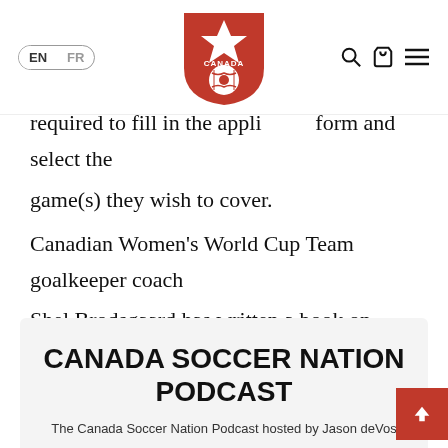EN | FR — Canada Soccer logo — search, cart, menu icons
required to fill in the application form and select the game(s) they wish to cover.
Canadian Women's World Cup Team goalkeeper coach Shel Brodsgaard has written a book on goalkeeping entitled “Guarding the Goal”. The book is available by visiting the Online Store on the web site and clicking on the link.
CANADA SOCCER NATION PODCAST
The Canada Soccer Nation Podcast hosted by Jason deVos...